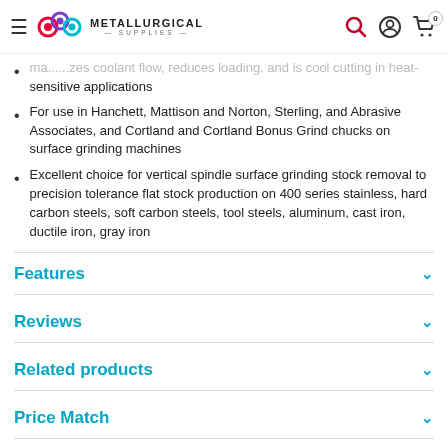Metallurgical Supplies — navigation header
ma...zes coolant flow, reduces loading, and is cool cutting in heat-sensitive applications
For use in Hanchett, Mattison and Norton, Sterling, and Abrasive Associates, and Cortland and Cortland Bonus Grind chucks on surface grinding machines
Excellent choice for vertical spindle surface grinding stock removal to precision tolerance flat stock production on 400 series stainless, hard carbon steels, soft carbon steels, tool steels, aluminum, cast iron, ductile iron, gray iron
Features
Reviews
Related products
Price Match